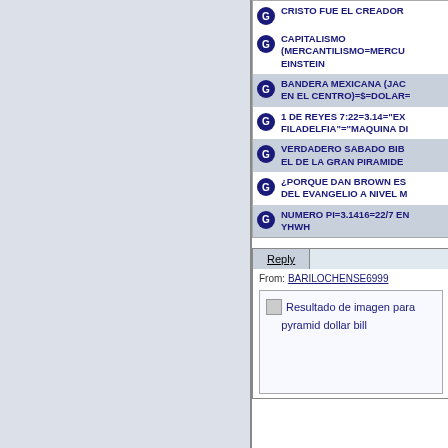CRISTO FUE EL CREADOR
CAPITALISMO (MERCANTILISMO=MERCU... EINSTEIN
BANDERA MEXICANA (JAC... EN EL CENTRO)=$=DOLAR=
1 DE REYES 7:22=3.14="EX... FILADELFIA"="MAQUINA DI
VERDADERO SABADO BIB... EL DE LA GRAN PIRAMIDE
¿PORQUE DAN BROWN ES... DEL EVANGELIO A NIVEL M
NUMERO PI=3.1416=22/7 EN... YHWH
Reply
From: BARILOCHENSE6999
[Figure (screenshot): Broken image placeholder with link text: Resultado de imagen para pyramid dollar bill]